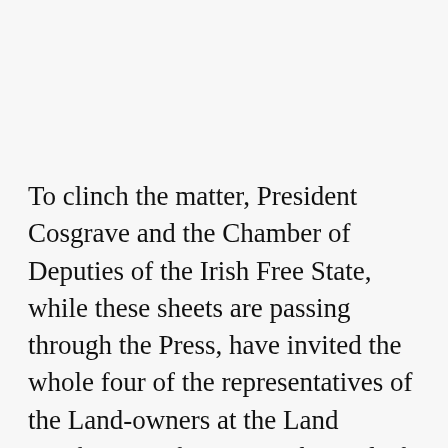To clinch the matter, President Cosgrave and the Chamber of Deputies of the Irish Free State, while these sheets are passing through the Press, have invited the whole four of the representatives of the Land-owners at the Land Conference of 1902-3—the Earl of Dunraven, the Earl of Mayo, Col. (now Sir) W. Hutcheson Poë, and Col. (now Sir) Nugent Everard—to accept seats in the new Senate, and have acclaimed Mr. T. M. Healy as their first Governor General, thus singling out for honour in